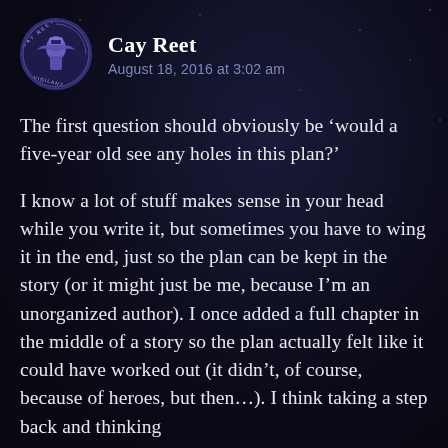Cay Reet
August 18, 2016 at 3:02 am
The first question should obviously be ‘would a five-year old see any holes in this plan?’
I know a lot of stuff makes sense in your head while you write it, but sometimes you have to wing it in the end, just so the plan can be kept in the story (or it might just be me, because I’m an unorganized author). I once added a full chapter in the middle of a story so the plan actually felt like it could have worked out (it didn’t, of course, because of heroes, but then…). I think taking a step back and thinking